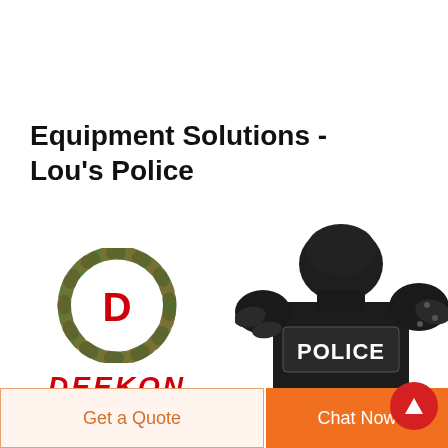Equipment Solutions - Lou's Police
[Figure (logo): Deekon logo: circular camouflage-pattern ring with a red 'D' in the center, and 'DEEKON' text in red italic below]
[Figure (photo): Rear view of a police officer wearing black tactical body armor with 'POLICE' written on the back, and shoulder armor plates]
Get a Quote
Chat Now